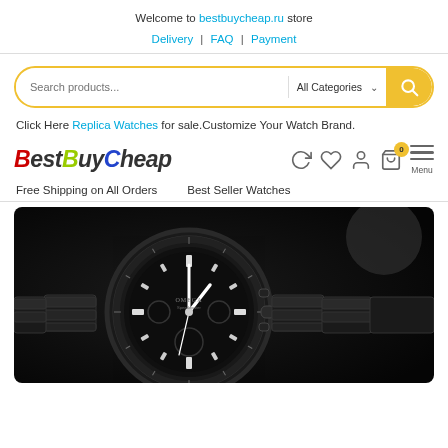Welcome to bestbuycheap.ru store
Delivery | FAQ | Payment
[Figure (screenshot): Search bar with yellow border and search button, showing 'Search products...' placeholder and 'All Categories' dropdown]
Click Here Replica Watches for sale.Customize Your Watch Brand.
[Figure (logo): BestBuyCheap logo with colorful letters and icons for refresh, wishlist, account, cart (0), and hamburger menu]
Free Shipping on All Orders    Best Seller Watches
[Figure (photo): Black and white close-up photo of an Omega Speedmaster chronograph watch with black dial and bracelet]